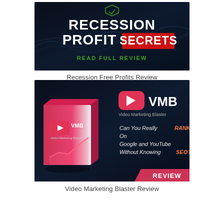[Figure (illustration): Recession Profit Secrets promotional banner with dark background, blue wave graphics, bold white text 'RECESSION PROFIT SECRETS' with SECRETS in a red box, and green text 'READ FULL REVIEW']
Recession Free Profits Review
[Figure (illustration): Video Marketing Blaster (VMB) promotional banner with dark background, product box image on left, VMB logo with YouTube-style play button icon, italic white text 'Can You Really RANK On Google and YouTube Without Knowing SEO?' with RANK and SEO in orange/red, and a pink REVIEW badge bottom right]
Video Marketing Blaster Review